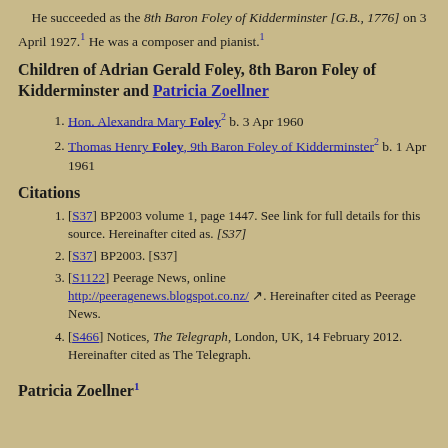He succeeded as the 8th Baron Foley of Kidderminster [G.B., 1776] on 3 April 1927.1 He was a composer and pianist.1
Children of Adrian Gerald Foley, 8th Baron Foley of Kidderminster and Patricia Zoellner
Hon. Alexandra Mary Foley2 b. 3 Apr 1960
Thomas Henry Foley, 9th Baron Foley of Kidderminster2 b. 1 Apr 1961
Citations
[S37] BP2003 volume 1, page 1447. See link for full details for this source. Hereinafter cited as. [S37]
[S37] BP2003. [S37]
[S1122] Peerage News, online http://peeragenews.blogspot.co.nz/. Hereinafter cited as Peerage News.
[S466] Notices, The Telegraph, London, UK, 14 February 2012. Hereinafter cited as The Telegraph.
Patricia Zoellner1